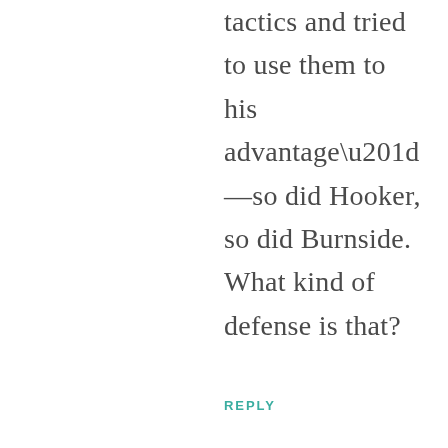tactics and tried to use them to his advantage”—so did Hooker, so did Burnside. What kind of defense is that?
REPLY